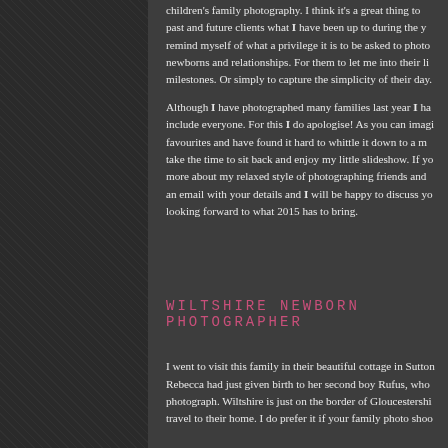children's family photography. I think it's a great thing to show past and future clients what I have been up to during the year, remind myself of what a privilege it is to be asked to photograph newborns and relationships. For them to let me into their lives, milestones. Or simply to capture the simplicity of their day.
Although I have photographed many families last year I have not include everyone. For this I do apologise! As you can imagine all favourites and have found it hard to whittle it down to a manageable take the time to sit back and enjoy my little slideshow. If you would more about my relaxed style of photographing friends and families, an email with your details and I will be happy to discuss your looking forward to what 2015 has to bring.
WILTSHIRE NEWBORN PHOTOGRAPHER
I went to visit this family in their beautiful cottage in Sutton. Rebecca had just given birth to her second boy Rufus, who I photograph. Wiltshire is just on the border of Gloucestershire travel to their home. I do prefer it if your family photo shoot